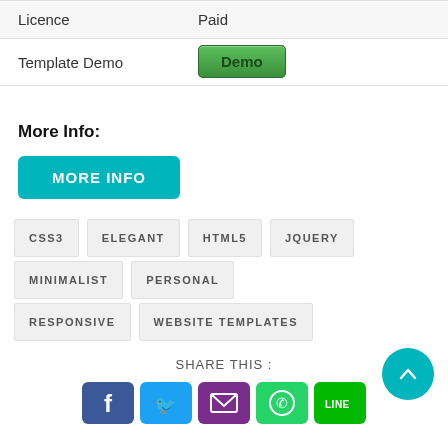| Licence | Paid |
| --- | --- |
| Template Demo | Demo |
| --- | --- |
More Info:
MORE INFO
CSS3
ELEGANT
HTML5
JQUERY
MINIMALIST
PERSONAL
RESPONSIVE
WEBSITE TEMPLATES
SHARE THIS :
[Figure (infographic): Social share buttons: Facebook, Twitter, Email, WhatsApp, LINE]